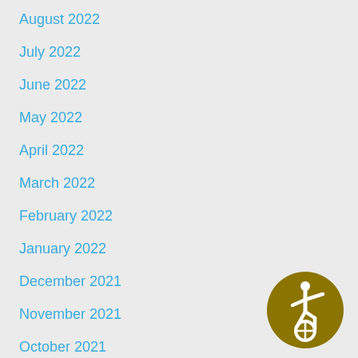August 2022
July 2022
June 2022
May 2022
April 2022
March 2022
February 2022
January 2022
December 2021
November 2021
October 2021
September 2021
August 2021
July 2021
[Figure (logo): Accessibility icon — gold circle with wheelchair accessibility symbol in white]